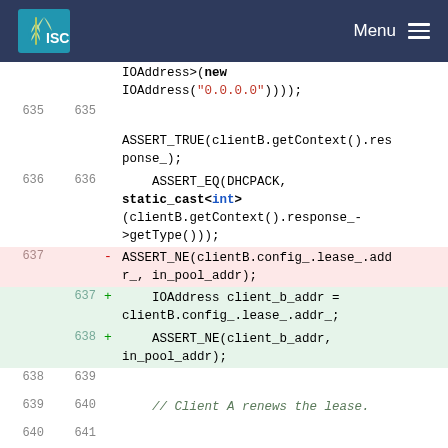ISC Menu
Code diff view showing lines 635-641 of a C++ DHCP client test file, including ASSERT_TRUE, ASSERT_EQ, ASSERT_NE calls and a removed/added diff for client_b_addr extraction.